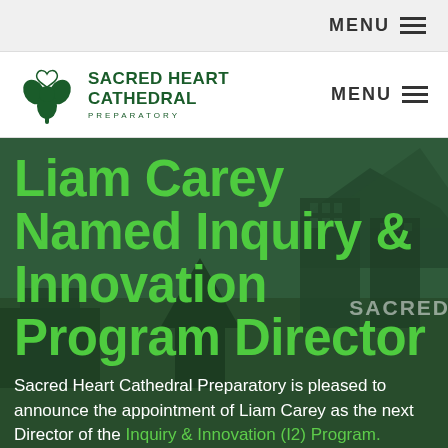MENU ≡
[Figure (logo): Sacred Heart Cathedral Preparatory logo with shamrock/clover icon in dark green, with text SACRED HEART CATHEDRAL PREPARATORY]
MENU ≡
Liam Carey Named Inquiry & Innovation Program Director
Sacred Heart Cathedral Preparatory is pleased to announce the appointment of Liam Carey as the next Director of the Inquiry & Innovation (I2) Program.